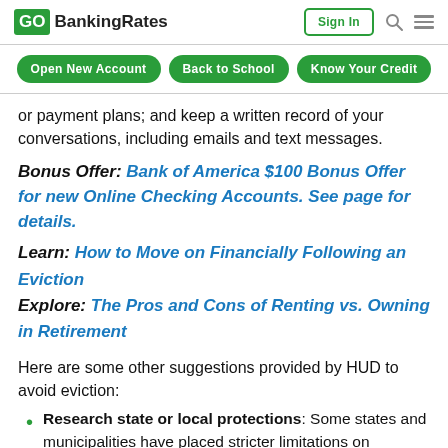GOBankingRates | Sign In | Search | Menu
Open New Account | Back to School | Know Your Credit
or payment plans; and keep a written record of your conversations, including emails and text messages.
Bonus Offer: Bank of America $100 Bonus Offer for new Online Checking Accounts. See page for details.
Learn: How to Move on Financially Following an Eviction
Explore: The Pros and Cons of Renting vs. Owning in Retirement
Here are some other suggestions provided by HUD to avoid eviction:
Research state or local protections: Some states and municipalities have placed stricter limitations on